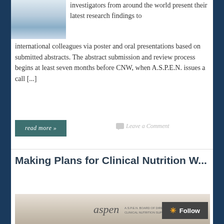[Figure (photo): Thumbnail photo of a conference poster session]
investigators from around the world present their latest research findings to international colleagues via poster and oral presentations based on submitted abstracts. The abstract submission and review process begins at least seven months before CNW, when A.S.P.E.N. issues a call [...]
read more »
Leave a Comment
Making Plans for Clinical Nutrition W...
[Figure (photo): Group photo of A.S.P.E.N. staff standing in front of ASPEN logo on wall]